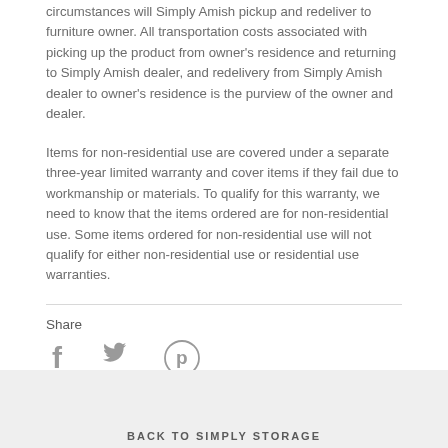circumstances will Simply Amish pickup and redeliver to furniture owner. All transportation costs associated with picking up the product from owner's residence and returning to Simply Amish dealer, and redelivery from Simply Amish dealer to owner's residence is the purview of the owner and dealer.
Items for non-residential use are covered under a separate three-year limited warranty and cover items if they fail due to workmanship or materials. To qualify for this warranty, we need to know that the items ordered are for non-residential use. Some items ordered for non-residential use will not qualify for either non-residential use or residential use warranties.
Share
[Figure (infographic): Social media share icons: Facebook (f), Twitter (bird), Pinterest (p)]
BACK TO SIMPLY STORAGE